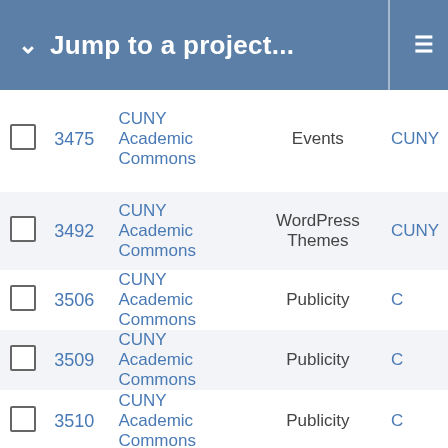Jump to a project...
|  | ID | Project | Category | Assign |
| --- | --- | --- | --- | --- |
| ☐ | 3475 | CUNY Academic Commons | Events | CUNY |
| ☐ | 3492 | CUNY Academic Commons | WordPress Themes | CUNY |
| ☐ | 3506 | CUNY Academic Commons | Publicity | C |
| ☐ | 3509 | CUNY Academic Commons | Publicity | C |
| ☐ | 3510 | CUNY Academic Commons | Publicity | C |
| ☐ | 3511 | CUNY Academic Commons | Publicity | C |
| ☐ | 3517 | CUNY Academic Commons | My Commons | CUNY |
| ☐ | 3524 | CUNY Academic Commons | Documentation | CUN |